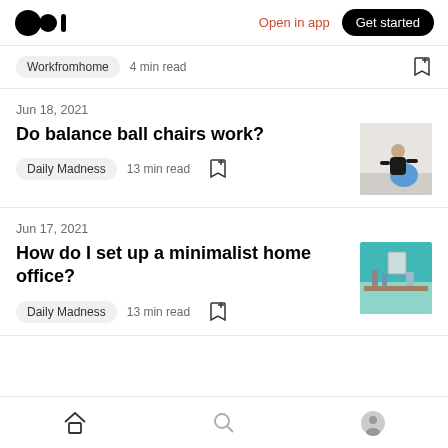Medium app header with logo, Open in app, Get started
Workfromhome  4 min read
Jun 18, 2021
Do balance ball chairs work?
Daily Madness  13 min read
[Figure (photo): Person sitting on a balance ball chair in a gym/office setting]
Jun 17, 2021
How do I set up a minimalist home office?
Daily Madness  13 min read
[Figure (photo): Minimalist home office desk with teal/turquoise background]
Home | Search | Profile navigation icons